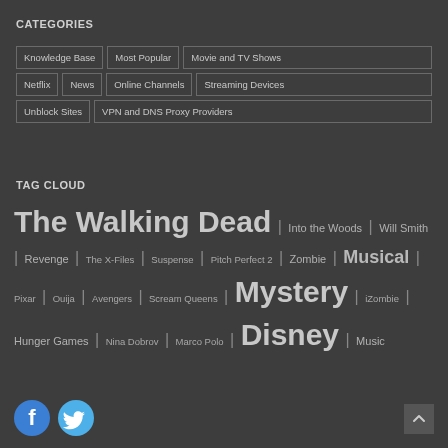CATEGORIES
Knowledge Base
Most Popular
Movie and TV Shows
Netflix
News
Online Channels
Streaming Devices
Unblock Sites
VPN and DNS Proxy Providers
TAG CLOUD
The Walking Dead | Into the Woods | Will Smith | Revenge | The X-Files | Suspense | Pitch Perfect 2 | Zombie | Musical | Pixar | Ouija | Avengers | Scream Queens | Mystery | iZombie | Hunger Games | Nina Dobrov | Marco Polo | Disney | Music
[Figure (logo): Facebook logo icon (blue circle with white F)]
[Figure (logo): Twitter logo icon (blue circle with white bird)]